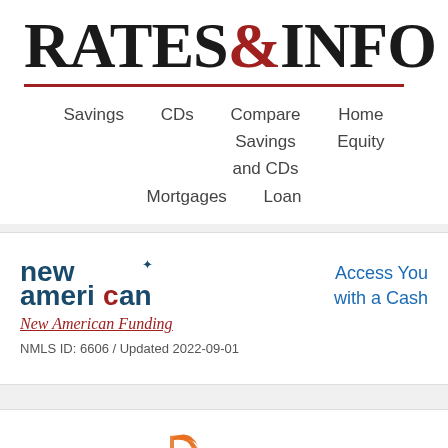RATES&INFO
Savings | CDs | Compare Savings and CDs | Home Equity | Mortgages | Loans
[Figure (logo): New American Funding logo with star icon and NMLS#6606 text]
New American Funding
NMLS ID: 6606 / Updated 2022-09-01
Access You with a Cash
[Figure (logo): Bethpage Federal Credit Union logo with orange swoosh icon]